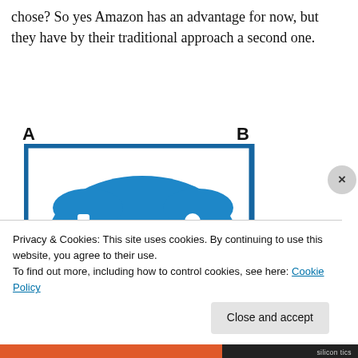chose? So yes Amazon has an advantage for now, but they have by their traditional approach a second one.
[Figure (illustration): Blue game controller icon inside a blue-bordered white square box. The controller has a D-pad cross on the left, two dashes in the center, and circle buttons on the right. Labels 'A' and 'B' appear above the image area.]
Privacy & Cookies: This site uses cookies. By continuing to use this website, you agree to their use.
To find out more, including how to control cookies, see here: Cookie Policy
Close and accept